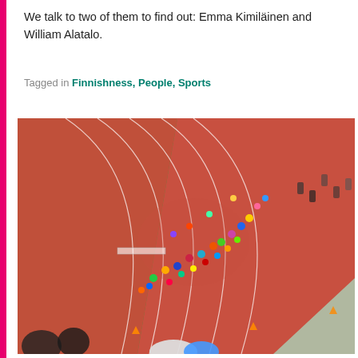We talk to two of them to find out: Emma Kimiläinen and William Alatalo.
Tagged in Finnishness, People, Sports
[Figure (photo): Aerial view of runners on a red athletic track during a race event. Many participants in colorful sportswear are running along the curved lanes. Green infield grass visible on the right. Spectators and officials stand around the edges. Orange cones mark areas near the finish zone.]